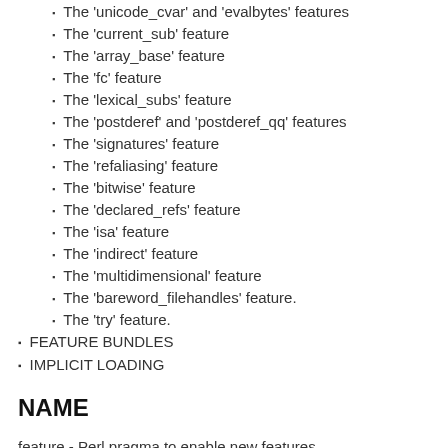The 'unicode_cvar' and 'evalbytes' features
The 'current_sub' feature
The 'array_base' feature
The 'fc' feature
The 'lexical_subs' feature
The 'postderef' and 'postderef_qq' features
The 'signatures' feature
The 'refaliasing' feature
The 'bitwise' feature
The 'declared_refs' feature
The 'isa' feature
The 'indirect' feature
The 'multidimensional' feature
The 'bareword_filehandles' feature.
The 'try' feature.
FEATURE BUNDLES
IMPLICIT LOADING
NAME
feature - Perl pragma to enable new features